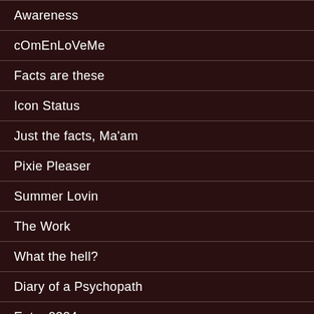Awareness
cOmEnLoVeMe
Facts are these
Icon Status
Just the facts, Ma'am
Pixie Pleaser
Summer Lovin
The Work
What the hell?
Diary of a Psychopath
Entry 0004